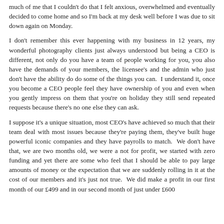much of me that I couldn't do that I felt anxious, overwhelmed and eventually decided to come home and so I'm back at my desk well before I was due to sit down again on Monday.
I don't remember this ever happening with my business in 12 years, my wonderful photography clients just always understood but being a CEO is different, not only do you have a team of people working for you, you also have the demands of your members, the licensee's and the admin who just don't have the ability do do some of the things you can.  I understand it, once you become a CEO people feel they have ownership of you and even when you gently impress on them that you're on holiday they still send repeated requests because there's no one else they can ask.
I suppose it's a unique situation, most CEO's have achieved so much that their team deal with most issues because they're paying them, they've built huge powerful iconic companies and they have payrolls to match.  We don't have that, we are two months old, we were a not for profit, we started with zero funding and yet there are some who feel that I should be able to pay large amounts of money or the expectation that we are suddenly rolling in it at the cost of our members and it's just not true.  We did make a profit in our first month of our £499 and in our second month of just under £600